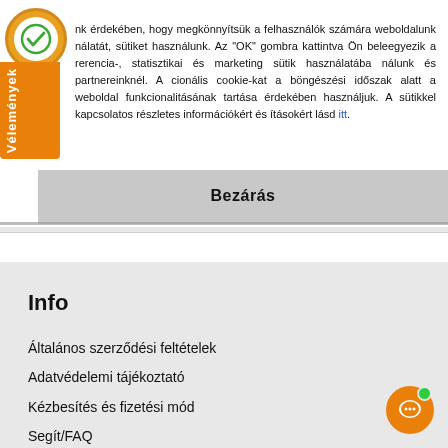nk érdekében, hogy megkönnyítsük a felhasználók számára weboldalunk nálatát, sütiket használunk. Az "OK" gombra kattintva Ön beleegyezik a rerencia-, statisztikai és marketing sütik használatába nálunk és partnereinknél. A cionális cookie-kat a böngészési időszak alatt a weboldal funkcionalitásának tartása érdekében használjuk. A sütikkel kapcsolatos részletes információkért és ításokért lásd itt.
Bezárás
Info
Általános szerződési feltételek
Adatvédelemi tájékoztató
Kézbesítés és fizetési mód
Segít/FAQ